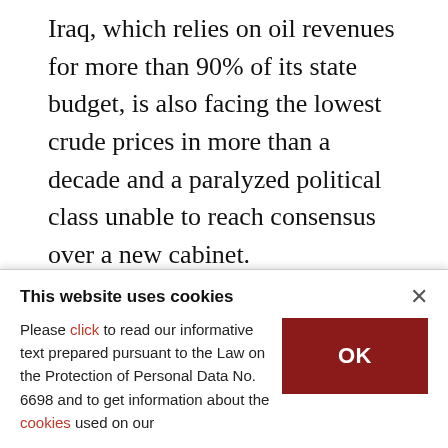Iraq, which relies on oil revenues for more than 90% of its state budget, is also facing the lowest crude prices in more than a decade and a paralyzed political class unable to reach consensus over a new cabinet.
Some Iraqis are taking public health into their own hands. Asaad al-Saadi, 40, has turned his Baghdad home into a makeshift workshop, producing face masks to help prevent the transmission of COVID-19.
This website uses cookies
Please click to read our informative text prepared pursuant to the Law on the Protection of Personal Data No. 6698 and to get information about the cookies used on our